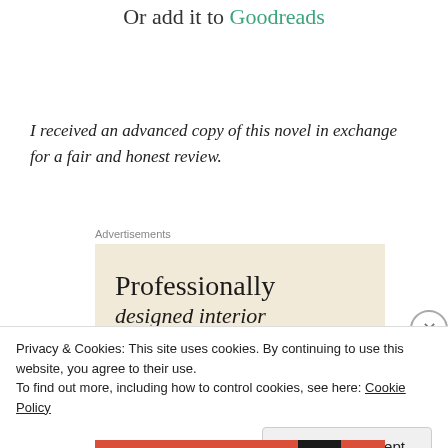Or add it to Goodreads
I received an advanced copy of this novel in exchange for a fair and honest review.
[Figure (other): Advertisement box with beige background showing text 'Professionally' and partial text below]
Privacy & Cookies: This site uses cookies. By continuing to use this website, you agree to their use.
To find out more, including how to control cookies, see here: Cookie Policy
Close and accept